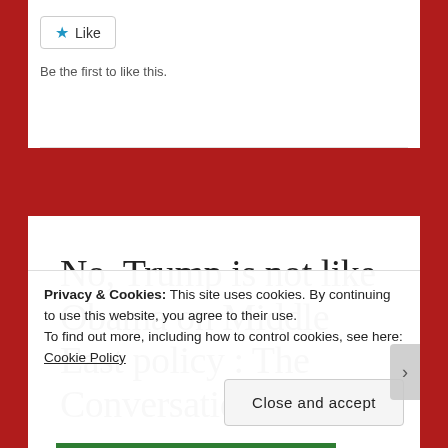[Figure (screenshot): Like button widget with a blue star icon and the text 'Like']
Be the first to like this.
No, Trump is not like Obama on Middle East policy : The Conversation
Privacy & Cookies: This site uses cookies. By continuing to use this website, you agree to their use.
To find out more, including how to control cookies, see here: Cookie Policy
Close and accept